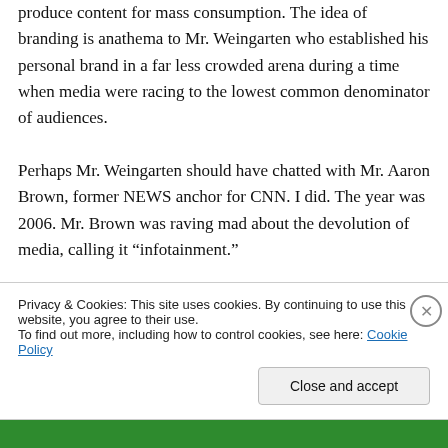produce content for mass consumption. The idea of branding is anathema to Mr. Weingarten who established his personal brand in a far less crowded arena during a time when media were racing to the lowest common denominator of audiences.

Perhaps Mr. Weingarten should have chatted with Mr. Aaron Brown, former NEWS anchor for CNN. I did. The year was 2006. Mr. Brown was raving mad about the devolution of media, calling it “infotainment.”
Privacy & Cookies: This site uses cookies. By continuing to use this website, you agree to their use.
To find out more, including how to control cookies, see here: Cookie Policy